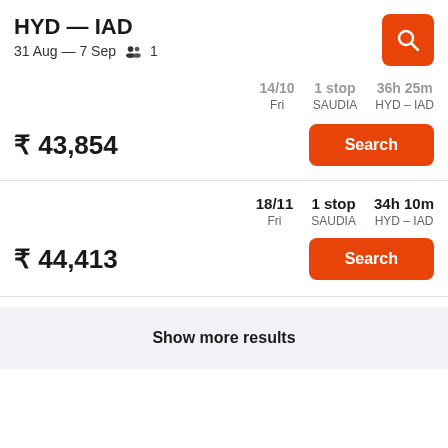HYD — IAD
31 Aug — 7 Sep  1
14/10  Fri | 1 stop  SAUDIA | 36h 25m  HYD - IAD
₹ 43,854
Search
18/11  Fri | 1 stop  SAUDIA | 34h 10m  HYD - IAD
₹ 44,413
Search
Show more results